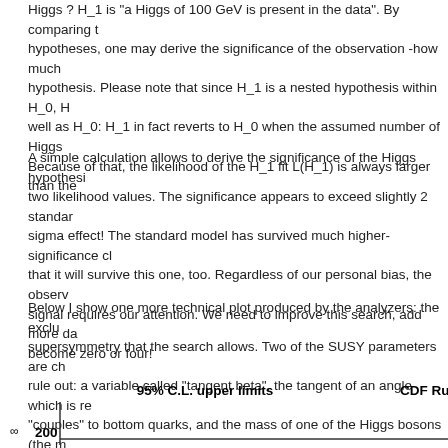Higgs ? H_1 is "a Higgs of 100 GeV is present in the data". By comparing the hypotheses, one may derive the significance of the observation -how much the hypothesis. Please note that since H_1 is a nested hypothesis within H_0, H well as H_0: H_1 in fact reverts to H_0 when the assumed number of Higgs Because of that, the likelihood of the H_1 fit L(H_1) is always larger than the
A simple calculation allows to derive the significance of the Higgs hypothesis two likelihood values. The significance appears to exceed slightly 2 standard sigma effect! The standard model has survived much higher-significance cla that it will survive this one, too. Regardless of our personal bias, the observa signal requires our attention. We need to improve this search, add more dat become zero or four!
Below I show one more technical plot produced by the analyzers: the exclu supersymmetry that the search allows. Two of the SUSY parameters are ch rule out: a variable called "tangent beta", the tangent of an angle which is re "couples" to bottom quarks, and the mass of one of the Higgs bosons (the m related to one another, and to plot the data the A Higgs boson is usually cho
95% C.L. upper limits     CDF Run I
[Figure (other): Bottom portion of a plot showing '200' label on the y-axis and the beginning of a chart, with title '95% C.L. upper limits' and 'CDF Run I' label visible]